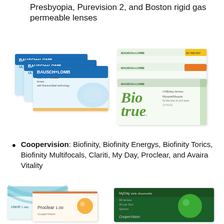Presbyopia, Purevision 2, and Boston rigid gas permeable lenses
[Figure (photo): Bausch + Lomb ULTRA contact lens boxes (three stacked) on left, and Bausch + Lomb Biotrue ONEday lens boxes on right]
Coopervision: Biofinity, Biofinity Energys, Biofinity Torics, Biofinity Multifocals, Clariti, My Day, Proclear, and Avaira Vitality
[Figure (photo): CooperVision contact lens boxes including Clariti 1 day, Proclear 1.00, and MyDay daily disposable lenses]